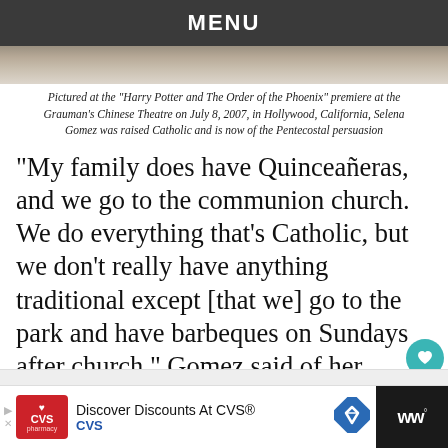MENU
[Figure (photo): Partial photo strip at top of page, cropped image of people at an event]
Pictured at the "Harry Potter and The Order of the Phoenix" premiere at the Grauman's Chinese Theatre on July 8, 2007, in Hollywood, California, Selena Gomez was raised Catholic and is now of the Pentecostal persuasion
“My family does have Quinceañeras, and we go to the communion church. We do everything that’s Catholic, but we don’t really have anything traditional except [that we] go to the park and have barbeques on Sundays after church,” Gomez said of her Hispanic heritage in an interview.
[Figure (photo): What's Next thumbnail: Janelle Moné Attends Film...]
[Figure (logo): CVS Pharmacy advertisement: Discover Discounts At CVS®]